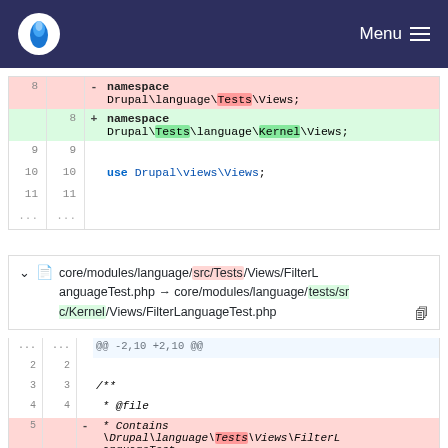Menu
[Figure (screenshot): Code diff block showing namespace change from Drupal\language\Tests\Views to Drupal\Tests\language\Kernel\Views, with use Drupal\views\Views statement.]
core/modules/language/src/Tests/Views/FilterLanguageTest.php → core/modules/language/tests/src/Kernel/Views/FilterLanguageTest.php
[Figure (screenshot): Second code diff block showing @@ -2,10 +2,10 @@ hunk header and start of PHP docblock with Contains \Drupal\language\Tests\Views\FilterLanguageTest removed line.]